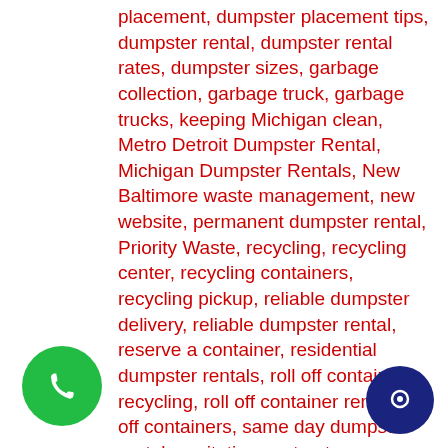placement, dumpster placement tips, dumpster rental, dumpster rental rates, dumpster sizes, garbage collection, garbage truck, garbage trucks, keeping Michigan clean, Metro Detroit Dumpster Rental, Michigan Dumpster Rentals, New Baltimore waste management, new website, permanent dumpster rental, Priority Waste, recycling, recycling center, recycling containers, recycling pickup, reliable dumpster delivery, reliable dumpster rental, reserve a container, residential dumpster rentals, roll off container recycling, roll off container rental, roll off containers, same day dumpster rental, sanitation contractor, schedule dumpster rental, temporary dumpster, waste hauling, waste management, waste management for municipalities